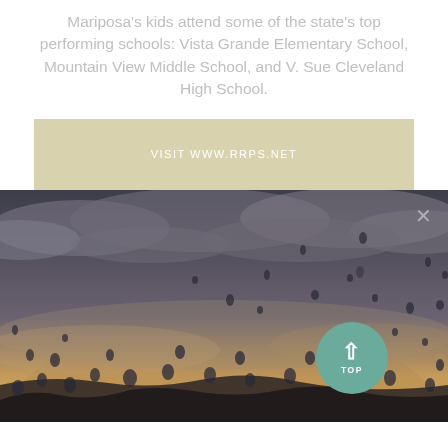Mariposa's kids attend some of the state's top performing schools: Vista Grande Elementary School, Mountain View Middle School, and V. Sue Cleveland High School.
VISIT WWW.RRPS.NET
[Figure (photo): Panoramic photo of many hot air balloons floating in a dramatic cloudy sky at golden hour/sunset over a landscape, with a circular teal 'TOP' button with an upward arrow overlaid in the bottom-right, and an 'X' close button in the top-right corner.]